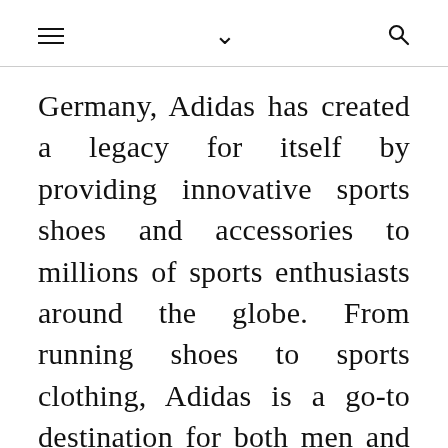≡  ∨  🔍
Germany, Adidas has created a legacy for itself by providing innovative sports shoes and accessories to millions of sports enthusiasts around the globe. From running shoes to sports clothing, Adidas is a go-to destination for both men and women who are looking for state-of-the-art sports accessories.